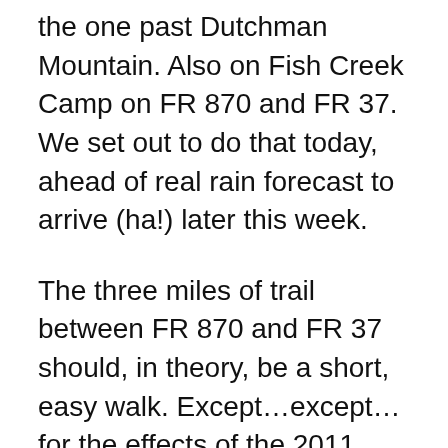the one past Dutchman Mountain. Also on Fish Creek Camp on FR 870 and FR 37. We set out to do that today, ahead of real rain forecast to arrive (ha!) later this week.
The three miles of trail between FR 870 and FR 37 should, in theory, be a short, easy walk. Except…except…for the effects of the 2011 Umpqua Complex Fire which had seared the forest along two-thirds of the trail. Fallen trees, choking new growth, evaporated tread were all to be expected in the burn area. So, in anticipation of the worst, we planned our return (should we actually be able to make it all the way) on